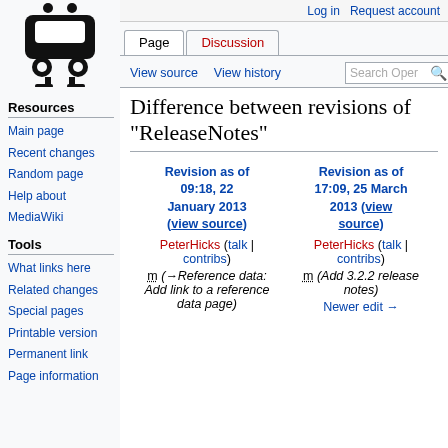Log in  Request account
Page  Discussion  View source  View history  Search OpenRailwayMap
[Figure (logo): OpenRailwayMap train/tram logo in black]
Difference between revisions of "ReleaseNotes"
Resources
Main page
Recent changes
Random page
Help about MediaWiki
Tools
What links here
Related changes
Special pages
Printable version
Permanent link
Page information
| Revision as of 09:18, 22 January 2013 (view source) | Revision as of 17:09, 25 March 2013 (view source) |
| --- | --- |
| PeterHicks (talk | contribs) | PeterHicks (talk | contribs) |
| m (→Reference data: Add link to a reference data page) | m (Add 3.2.2 release notes) |
|  | Newer edit → |